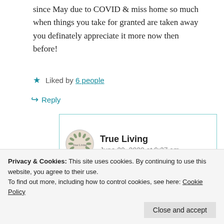since May due to COVID & miss home so much when things you take for granted are taken away you definately appreciate it more now then before!
★ Liked by 6 people
↪ Reply
True Living
June 20, 2020 at 9:27 am
can always remember what it taught
Privacy & Cookies: This site uses cookies. By continuing to use this website, you agree to their use.
To find out more, including how to control cookies, see here: Cookie Policy
Close and accept